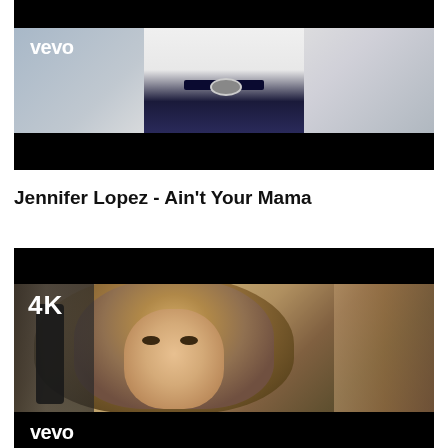[Figure (screenshot): Video thumbnail showing a woman in a white outfit with a blue belt. White 'vevo' logo in top-left corner. Black letterbox bars at top and bottom of thumbnail.]
Jennifer Lopez - Ain't Your Mama
[Figure (screenshot): Video thumbnail showing a woman with long curly blonde-brown hair looking at the camera. '4K' label in top-left corner. White 'vevo' logo in bottom-left corner. Black letterbox bar at top.]